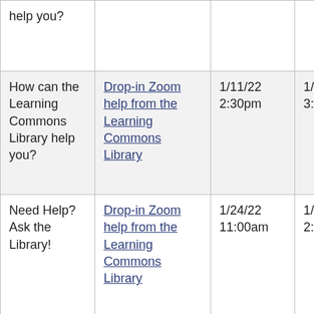|  |  |  |  |
| --- | --- | --- | --- |
| help you? | [truncated top] |  |  |
| How can the Learning Commons Library help you? | Drop-in Zoom help from the Learning Commons Library | 1/11/22 2:30pm | 1/11/22 3:30pm |
| Need Help? Ask the Library! | Drop-in Zoom help from the Learning Commons Library | 1/24/22 11:00am | 1/24/22 2:00pm |
| Need Help? Ask the [Library] | Drop-in Zoom help from the [Learning] | 1/24/22 3:00pm | 1/24/22 6:00pm |